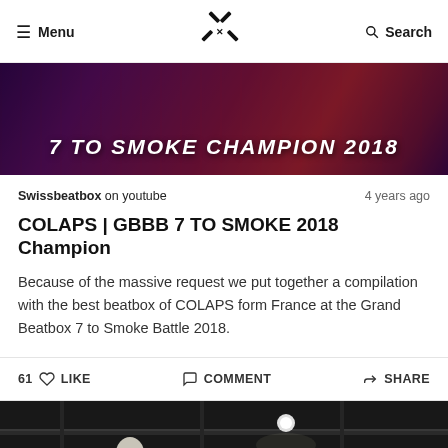≡ Menu  [GBBB Logo]  🔍 Search
[Figure (photo): Banner image for '7 TO SMOKE CHAMPION 2018' with dark purple and red background showing crowd/performer, white bold italic text overlay]
Swissbeatbox on youtube   4 years ago
COLAPS | GBBB 7 TO SMOKE 2018 Champion
Because of the massive request we put together a compilation with the best beatbox of COLAPS form France at the Grand Beatbox 7 to Smoke Battle 2018.
61 ♡ LIKE   💬 COMMENT   ▷ SHARE
[Figure (photo): Dark photo of a person (wearing red top) leaning forward under stage lighting/rigging, GBBB logo watermark in bottom right corner]